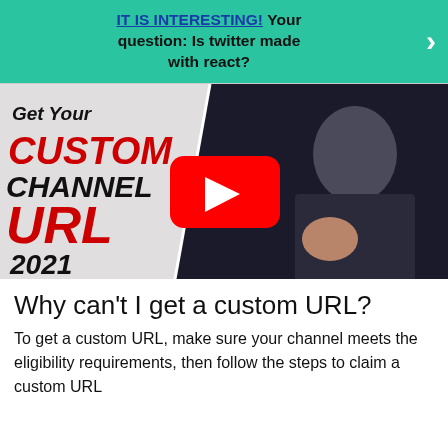IT IS INTERESTING! Your question: Is twitter made with react?
[Figure (screenshot): YouTube video thumbnail showing 'Get Your Custom Channel URL 2021' with a man in a black t-shirt against a dark background, and a YouTube play button overlay]
Why can't I get a custom URL?
To get a custom URL, make sure your channel meets the eligibility requirements, then follow the steps to claim a custom URL